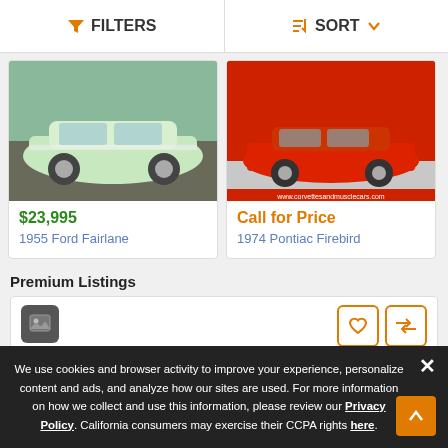FILTERS | SORT
[Figure (photo): 1955 Ford Fairlane - mint green classic car photo]
$23,995
1955 Ford Fairlane
[Figure (photo): 1974 Pontiac Firebird - red muscle car photo]
Call for Price
1974 Pontiac Firebird
Premium Listings
[Figure (other): Premium listing placeholder with image icon, heart button, and compare button]
We use cookies and browser activity to improve your experience, personalize content and ads, and analyze how our sites are used. For more information on how we collect and use this information, please review our Privacy Policy. California consumers may exercise their CCPA rights here.